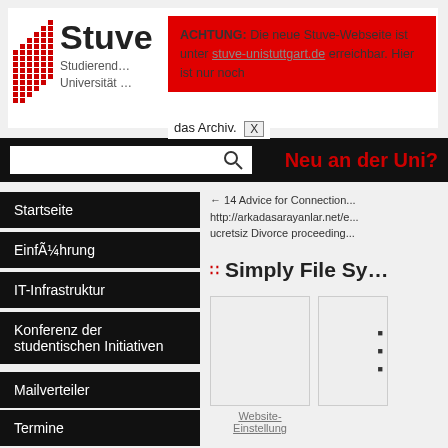Stuve — Studierendenvertretung Universität ...
ACHTUNG: Die neue Stuve-Webseite ist unter [link] erreichbar. Hier ist nur noch das Archiv. X
Neu an der Uni?
Startseite
Einführung
IT-Infrastruktur
Konferenz der studentischen Initiativen
Mailverteiler
Termine
Studierendenvertretung
Referate & Arbeitskreise
← 14 Advice for Connection... http://arkadasarayanlar.net/e... ucretsiz Divorce proceeding...
Simply File Sy...
Website-Einstellung